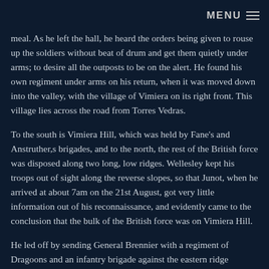MENU ≡
meal. As he left the hall, he heard the orders being given to rouse up the soldiers without beat of drum and get them quietly under arms; to desire all the outposts to be on the alert. He found his own regiment under arms on his return, when it was moved down into the valley, with the village of Vimiera on its right front. This village lies across the road from Torres Vedras.
To the south is Vimiera Hill, which was held by Fane's and Anstruther,s brigades, and to the north, the rest of the British force was disposed along two long, low ridges. Wellesley kept his troops out of sight along the reverse slopes, so that Junot, when he arrived at about 7am on the 21st August, got very little information out of his reconnaissance, and evidently came to the conclusion that the bulk of the British force was on Vimiera Hill.
He led off by sending General Brennier with a regiment of Dragoons and an infantry brigade against the eastern ridge intending to attack Vimiera Hill as soon as Brennier was on his objective.